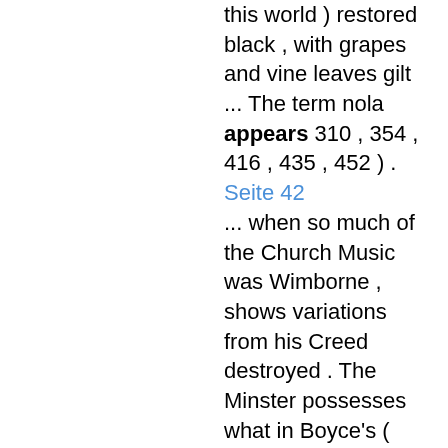this world ) restored black , with grapes and vine leaves gilt ... The term nola appears 310 , 354 , 416 , 435 , 452 ) .
Seite 42
... when so much of the Church Music was Wimborne , shows variations from his Creed destroyed . The Minster possesses what in Boyce's ( printed ) Cathedral Music appears to be an unique setting of the ( Warren's Edition ) ...
Seite 53
... his only Army The work of glazing the windows of surgeon , forcibly to impress as many surgeons St. Stephen's Chapel at